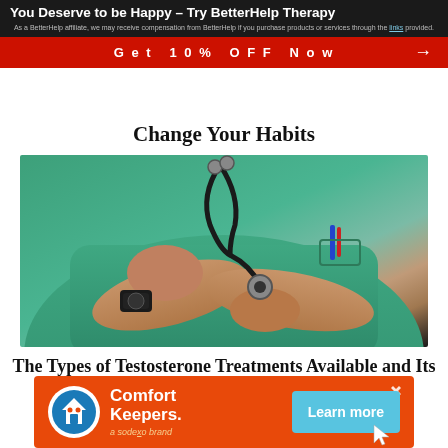[Figure (other): BetterHelp therapy advertisement banner with dark background, bold white title 'You Deserve to be Happy - Try BetterHelp Therapy', affiliate disclaimer text, and red CTA button 'Get 10% OFF Now']
Change Your Habits
[Figure (photo): Close-up photo of a medical professional in green scrubs with arms crossed, wearing a stethoscope and a watch]
The Types of Testosterone Treatments Available and Its Risks
[Figure (other): Comfort Keepers advertisement on orange background with logo, brand name, 'a sodexo brand' tagline, and 'Learn more' button]